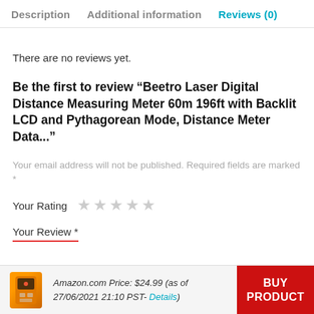Description  Additional information  Reviews (0)
There are no reviews yet.
Be the first to review “Beetro Laser Digital Distance Measuring Meter 60m 196ft with Backlit LCD and Pythagorean Mode, Distance Meter Data...”
Your email address will not be published. Required fields are marked *
Your Rating ★★★★★
Your Review *
Amazon.com Price: $24.99 (as of 27/06/2021 21:10 PST- Details)